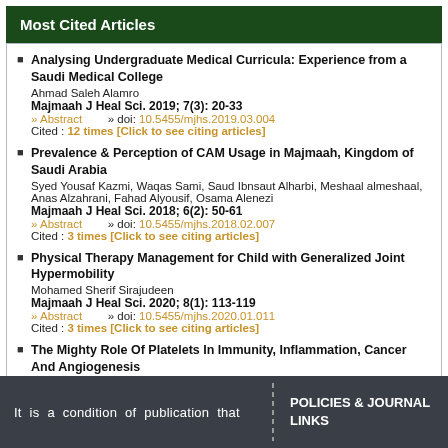Most Cited Articles
Analysing Undergraduate Medical Curricula: Experience from a Saudi Medical College
Ahmad Saleh Alamro
Majmaah J Heal Sci. 2019; 7(3): 20-33
» Abstract   » doi: 10.5455/mjhs.2019.03.004
Cited : 12 times [Click to see citing articles]
Prevalence & Perception of CAM Usage in Majmaah, Kingdom of Saudi Arabia
Syed Yousaf Kazmi, Waqas Sami, Saud Ibnsaut Alharbi, Meshaal almeshaal, Anas Alzahrani, Fahad Alyousif, Osama Alenezi
Majmaah J Heal Sci. 2018; 6(2): 50-61
» Abstract   » doi: 10.5455/mjhs.2018.02.007
Cited : 3 times [Click to see citing articles]
Physical Therapy Management for Child with Generalized Joint Hypermobility
Mohamed Sherif Sirajudeen
Majmaah J Heal Sci. 2020; 8(1): 113-119
» Abstract   » doi: 10.5455/mjhs.2020.01.011
Cited : 3 times [Click to see citing articles]
The Mighty Role Of Platelets In Immunity, Inflammation, Cancer And Angiogenesis
Hassan Hamali
Majmaah J Heal Sci. 2020; 8(1): 65-81
It is a condition of publication that
POLICIES & JOURNAL LINKS